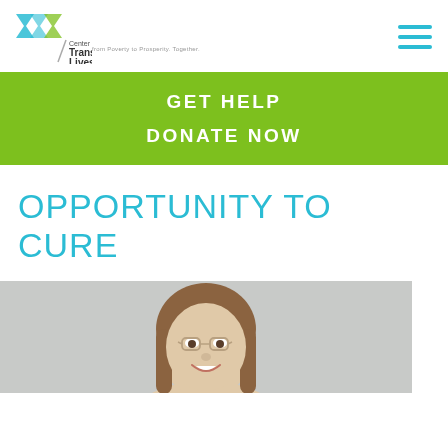[Figure (logo): Center for Transforming Lives logo — teal and green mosaic chevron/arrow shapes with text 'Center for Transforming Lives' and tagline 'from Poverty to Prosperity. Together.']
[Figure (other): Hamburger menu icon — three horizontal cyan/teal lines]
GET HELP
DONATE NOW
OPPORTUNITY TO CURE
[Figure (photo): Headshot photo of a smiling woman with long brown hair and glasses, against a light gray background]